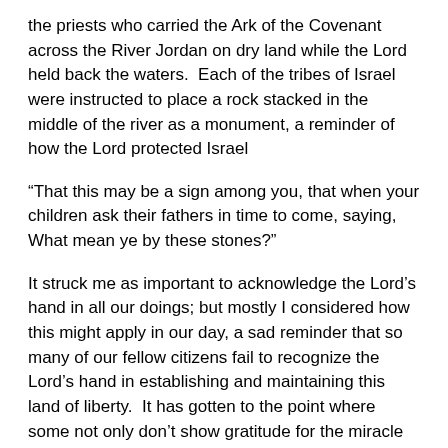the priests who carried the Ark of the Covenant across the River Jordan on dry land while the Lord held back the waters.  Each of the tribes of Israel were instructed to place a rock stacked in the middle of the river as a monument, a reminder of how the Lord protected Israel
“That this may be a sign among you, that when your children ask their fathers in time to come, saying, What mean ye by these stones?”
It struck me as important to acknowledge the Lord’s hand in all our doings; but mostly I considered how this might apply in our day, a sad reminder that so many of our fellow citizens fail to recognize the Lord’s hand in establishing and maintaining this land of liberty.  It has gotten to the point where some not only don’t show gratitude for the miracle that is America; but are in outright defiance of God’s eternal laws.
Then a bit further, in Joshua 24:13 the Lord pointed out how the people of Israel were handed the promised land, not by